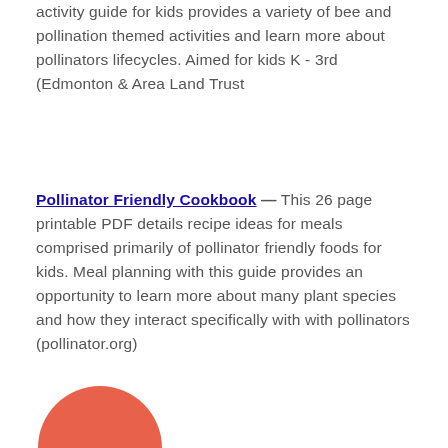activity guide for kids provides a variety of bee and pollination themed activities and learn more about pollinators lifecycles. Aimed for kids K - 3rd (Edmonton & Area Land Trust
Pollinator Friendly Cookbook — This 26 page printable PDF details recipe ideas for meals comprised primarily of pollinator friendly foods for kids. Meal planning with this guide provides an opportunity to learn more about many plant species and how they interact specifically with with pollinators (pollinator.org)
[Figure (illustration): Partial circular orange/red graphic element at bottom left corner of the page, partially cropped]